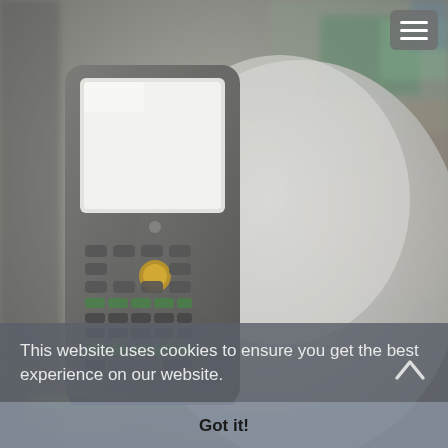[Figure (photo): Background photo of a barcode scanner / handheld device with keypad and screen placed next to a white hard hat, on a blurred warehouse or industrial floor background.]
This website uses cookies to ensure you get the best experience on our website.
Got it!